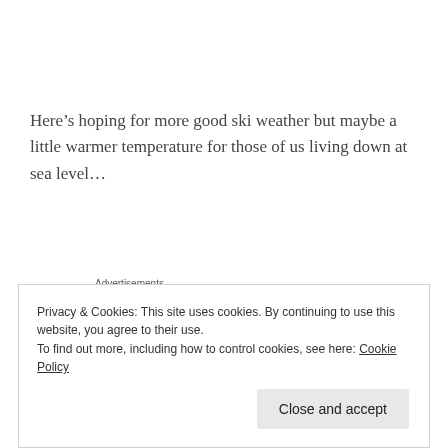Here’s hoping for more good ski weather but maybe a little warmer temperature for those of us living down at sea level…
Advertisements
[Figure (other): Advertisement banner showing text 'Build a writing habit. Post on']
Privacy & Cookies: This site uses cookies. By continuing to use this website, you agree to their use.
To find out more, including how to control cookies, see here: Cookie Policy